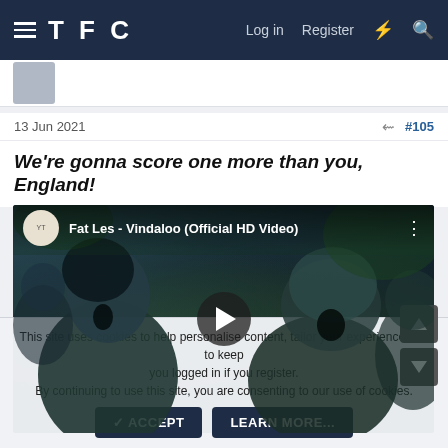TFC  Log in  Register
13 Jun 2021  #105
We're gonna score one more than you, England!
[Figure (screenshot): YouTube video thumbnail for 'Fat Les - Vindaloo (Official HD Video)' showing people singing with a play button overlay]
This site uses cookies to help personalise content, tailor your experience and to keep you logged in if you register.
By continuing to use this site, you are consenting to our use of cookies.